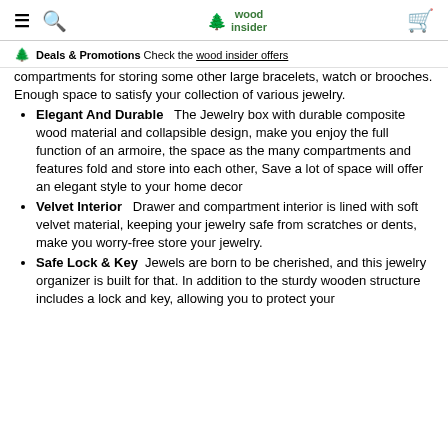≡ 🔍   wood insider   🛒
🌲 Deals & Promotions  Check the wood insider offers
compartments for storing some other large bracelets, watch or brooches. Enough space to satisfy your collection of various jewelry.
Elegant And Durable   The Jewelry box with durable composite wood material and collapsible design, make you enjoy the full function of an armoire, the space as the many compartments and features fold and store into each other, Save a lot of space will offer an elegant style to your home decor
Velvet Interior   Drawer and compartment interior is lined with soft velvet material, keeping your jewelry safe from scratches or dents, make you worry-free store your jewelry.
Safe Lock & Key  Jewels are born to be cherished, and this jewelry organizer is built for that. In addition to the sturdy wooden structure includes a lock and key, allowing you to protect your